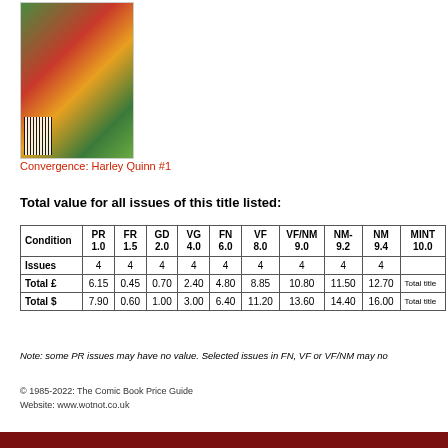[Figure (illustration): Comic book cover of Convergence: Harley Quinn #1 showing Harley Quinn in red costume, Catwoman in green, and Poison Ivy, with colorful background]
Convergence: Harley Quinn #1
Total value for all issues of this title listed:
| Condition | PR 1.0 | FR 1.5 | GD 2.0 | VG 4.0 | FN 6.0 | VF 8.0 | VF/NM 9.0 | NM- 9.2 | NM 9.4 | MINT 10.0 |
| --- | --- | --- | --- | --- | --- | --- | --- | --- | --- | --- |
| Issues | 4 | 4 | 4 | 4 | 4 | 4 | 4 | 4 | 4 |  |
| Total £ | 6.15 | 0.45 | 0.70 | 2.40 | 4.80 | 8.85 | 10.80 | 11.50 | 12.70 | Total title |
| Total $ | 7.90 | 0.60 | 1.00 | 3.00 | 6.40 | 11.20 | 13.60 | 14.40 | 16.00 | Total title |
Note: some PR issues may have no value. Selected issues in FN, VF or VF/NM may no
© 1985-2022: The Comic Book Price Guide
Website: www.wotnot.co.uk